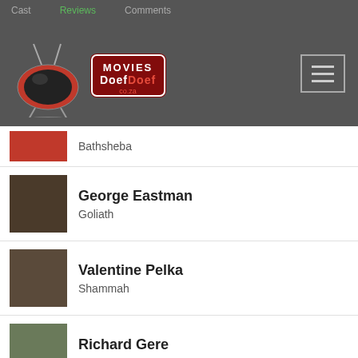Cast | Reviews | Comments
[Figure (logo): Movies DoefDoef co.za logo with retro TV graphic]
Bathsheba
George Eastman — Goliath
Valentine Pelka — Shammah
Richard Gere — King David
Edward Woodward — King Saul
Denis Quilley — Prophet Samuel